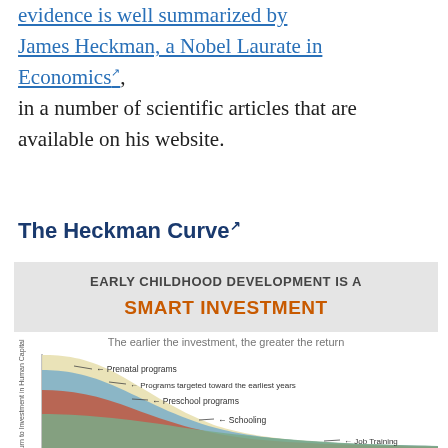evidence is well summarized by James Heckman, a Nobel Laurate in Economics, in a number of scientific articles that are available on his website.
The Heckman Curve
[Figure (continuous-plot): The Heckman Curve: a declining curve showing rate of return to investment in human capital versus age. Labels indicate Prenatal programs, Programs targeted toward the earliest years, Preschool programs, Schooling, Job Training from high to low return.]